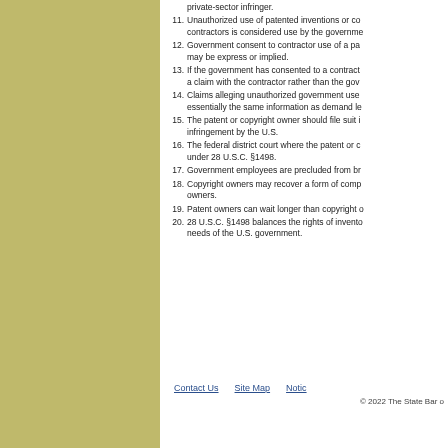private-sector infringer.
11. Unauthorized use of patented inventions or co... contractors is considered use by the governme...
12. Government consent to contractor use of a pa... may be express or implied.
13. If the government has consented to a contract... a claim with the contractor rather than the go...
14. Claims alleging unauthorized government use... essentially the same information as demand le...
15. The patent or copyright owner should file suit i... infringement by the U.S.
16. The federal district court where the patent or c... under 28 U.S.C. §1498.
17. Government employees are precluded from br...
18. Copyright owners may recover a form of comp... owners.
19. Patent owners can wait longer than copyright o...
20. 28 U.S.C. §1498 balances the rights of invento... needs of the U.S. government.
Contact Us   Site Map   Notic...   © 2022 The State Bar o...